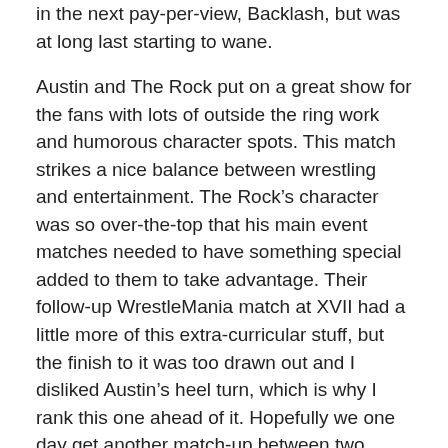in the next pay-per-view, Backlash, but was at long last starting to wane.
Austin and The Rock put on a great show for the fans with lots of outside the ring work and humorous character spots. This match strikes a nice balance between wrestling and entertainment. The Rock's character was so over-the-top that his main event matches needed to have something special added to them to take advantage. Their follow-up WrestleMania match at XVII had a little more of this extra-curricular stuff, but the finish to it was too drawn out and I disliked Austin's heel turn, which is why I rank this one ahead of it. Hopefully we one day get another match-up between two huge superstars like this in a WrestleMania main event (some would argue we did with Rock and Cena, but Cena's love from fans is not universal like Austin and Rock's was in 1999) because it is